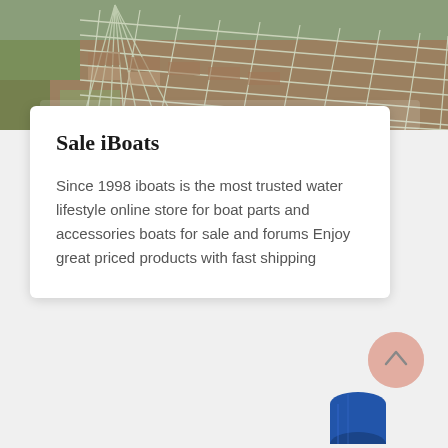[Figure (photo): Aerial or overhead photo of a terraced/gridded structure with metallic wire mesh framework over agricultural land with soil and vegetation visible]
Sale iBoats
Since 1998 iboats is the most trusted water lifestyle online store for boat parts and accessories boats for sale and forums Enjoy great priced products with fast shipping
[Figure (other): Partial circular scroll-to-top button with upward arrow, pinkish/salmon color]
[Figure (other): Partial product image at bottom right, appears to be a blue cylindrical or rolled product]